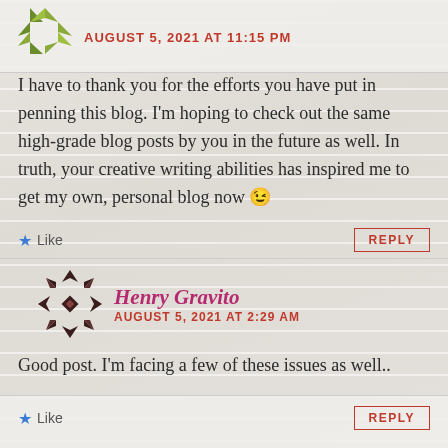AUGUST 5, 2021 AT 11:15 PM
I have to thank you for the efforts you have put in penning this blog. I'm hoping to check out the same high-grade blog posts by you in the future as well. In truth, your creative writing abilities has inspired me to get my own, personal blog now 😉
Like
REPLY
Henry Gravito
AUGUST 5, 2021 AT 2:29 AM
Good post. I'm facing a few of these issues as well..
Like
REPLY